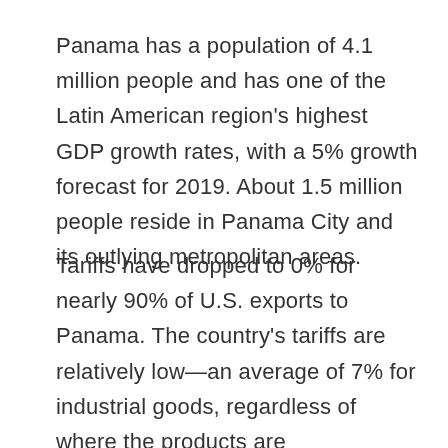Panama has a population of 4.1 million people and has one of the Latin American region's highest GDP growth rates, with a 5% growth forecast for 2019. About 1.5 million people reside in Panama City and its outlying metropolitan areas.
Tariffs have dropped to 0% for nearly 90% of U.S. exports to Panama. The country's tariffs are relatively low—an average of 7% for industrial goods, regardless of where the products are manufactured. A 0% tariff is a competitive advantage for U.S.-made